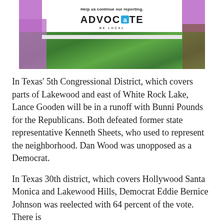[Figure (photo): Advertisement image for Advocate local news outlet. Top portion shows white box with text 'Help us continue our reporting.' and the ADVOCATE BE LOCAL logo. Bottom portion shows green succulent/cactus plants with purple and brown elements.]
In Texas' 5th Congressional District, which covers parts of Lakewood and east of White Rock Lake, Lance Gooden will be in a runoff with Bunni Pounds for the Republicans. Both defeated former state representative Kenneth Sheets, who used to represent the neighborhood. Dan Wood was unopposed as a Democrat.
In Texas 30th district, which covers Hollywood Santa Monica and Lakewood Hills, Democrat Eddie Bernice Johnson was reelected with 64 percent of the vote. There is